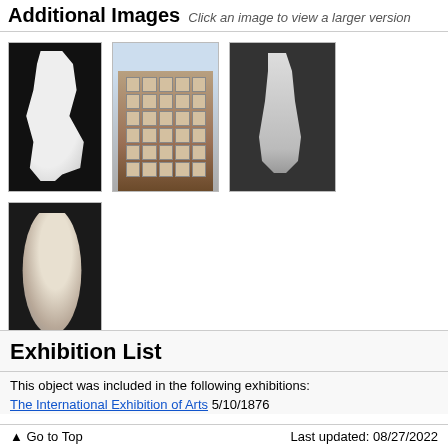Additional Images Click an image to view a larger version
[Figure (photo): White marble statue of a female figure against black background]
[Figure (photo): Photograph of a tall multi-story stone building facade]
[Figure (photo): Black and white photo of female statue in a room]
[Figure (photo): Black and white close-up profile of a sculpture bust]
Exhibition List
This object was included in the following exhibitions:
The International Exhibition of Arts 5/10/1876
Go to Top   Last updated: 08/27/2022